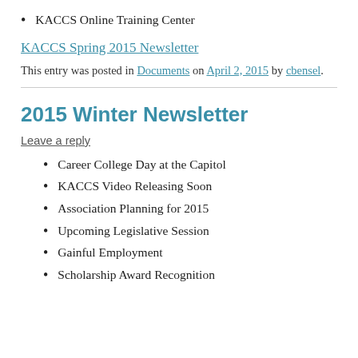KACCS Online Training Center
KACCS Spring 2015 Newsletter
This entry was posted in Documents on April 2, 2015 by cbensel.
2015 Winter Newsletter
Leave a reply
Career College Day at the Capitol
KACCS Video Releasing Soon
Association Planning for 2015
Upcoming Legislative Session
Gainful Employment
Scholarship Award Recognition